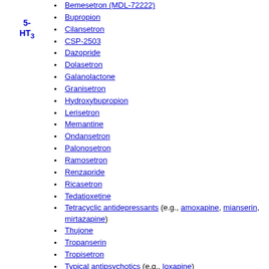5-HT3
Bupropion
Cilansetron
CSP-2503
Dazopride
Dolasetron
Galanolactone
Granisetron
Hydroxybupropion
Lerisetron
Memantine
Ondansetron
Palonosetron
Ramosetron
Renzapride
Ricasetron
Tedatioxetine
Tetracyclic antidepressants (e.g., amoxapine, mianserin, mirtazapine)
Thujone
Tropanserin
Tropisetron
Typical antipsychotics (e.g., loxapine)
Volatiles/gases (e.g., nitrous oxide, sevoflurane, xenon)
Vortioxetine